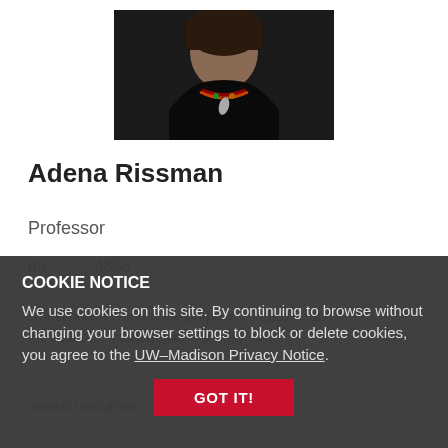[Figure (photo): Portrait photo of Adena Rissman, partially cropped at top of page, showing a person with colorful beaded necklace and dark jacket]
Adena Rissman
Professor
Phone: ... 4356
...description... natural resources management, society, and ...
natural resources
COOKIE NOTICE
We use cookies on this site. By continuing to browse without changing your browser settings to block or delete cookies, you agree to the UW–Madison Privacy Notice.
GOT IT!